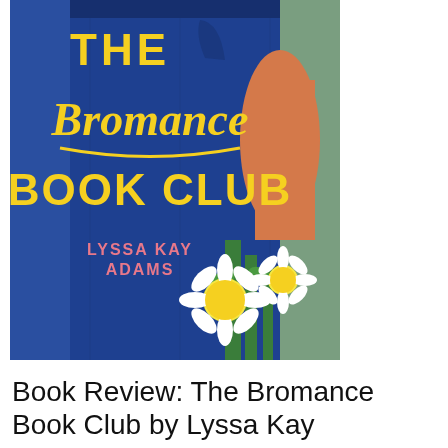[Figure (illustration): Book cover of 'The Bromance Book Club' by Lyssa Kay Adams. A blue denim background with a person's midsection visible, holding a bouquet of white daisy flowers with green stems. The title 'THE Bromance BOOK CLUB' is displayed in large yellow lettering, and the author name 'LYSSA KAY ADAMS' appears in pink text.]
Book Review: The Bromance Book Club by Lyssa Kay